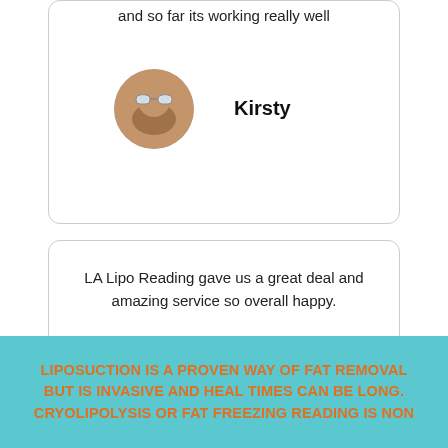and so far its working really well
Kirsty
LA Lipo Reading gave us a great deal and amazing service so overall happy.
Mike & Sarah
Reading
LIPOSUCTION IS A PROVEN WAY OF FAT REMOVAL BUT IS INVASIVE AND HEAL TIMES CAN BE LONG. CRYOLIPOLYSIS OR FAT FREEZING READING IS NON